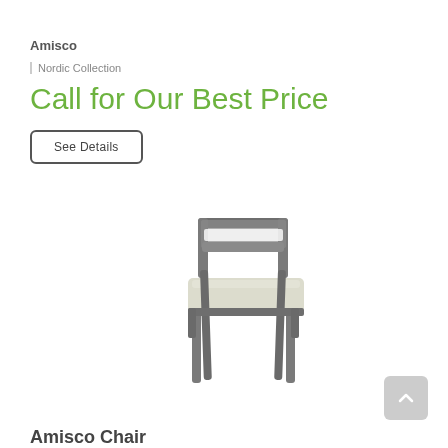Amisco
Nordic Collection
Call for Our Best Price
See Details
[Figure (photo): A modern dining chair with a dark grey metal frame and a light cream/white upholstered seat, shown from a slight angle on a white background.]
Amisco Chair